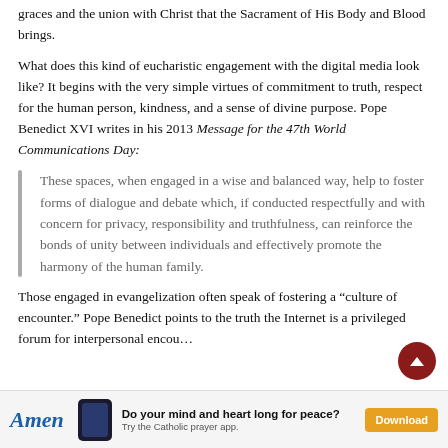graces and the union with Christ that the Sacrament of His Body and Blood brings.
What does this kind of eucharistic engagement with the digital media look like? It begins with the very simple virtues of commitment to truth, respect for the human person, kindness, and a sense of divine purpose. Pope Benedict XVI writes in his 2013 Message for the 47th World Communications Day:
These spaces, when engaged in a wise and balanced way, help to foster forms of dialogue and debate which, if conducted respectfully and with concern for privacy, responsibility and truthfulness, can reinforce the bonds of unity between individuals and effectively promote the harmony of the human family.
Those engaged in evangelization often speak of fostering a “culture of encounter.” Pope Benedict points to the truth the Internet is a privileged forum for interpersonal encou…